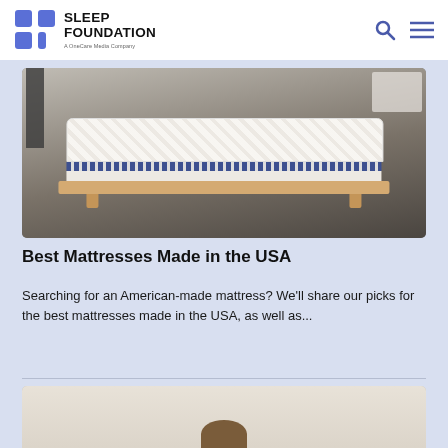Sleep Foundation — A OneCare Media Company
[Figure (photo): Photo of a white quilted mattress with blue dotted trim on a light wood bed frame, displayed in an industrial-style room]
Best Mattresses Made in the USA
Searching for an American-made mattress? We'll share our picks for the best mattresses made in the USA, as well as...
[Figure (photo): Partial photo of a person (appears to be a woman with brown hair) from a Sleep Foundation article]